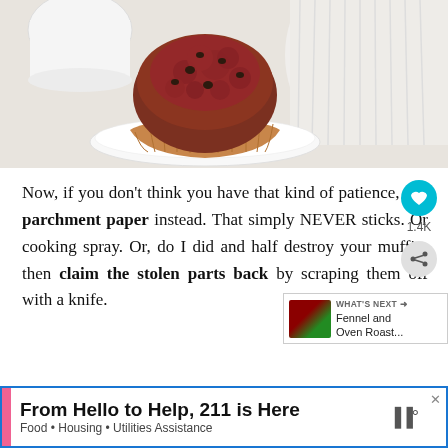[Figure (photo): A chocolate/berry muffin sitting on a white plate with a muffin wrapper, on a white surface with a white cup and bowl in background]
Now, if you don't think you have that kind of patience, use parchment paper instead. That simply NEVER sticks. Or cooking spray. Or, do I did and half destroy your muffin, then claim the stolen parts back by scraping them off with a knife.
[Figure (screenshot): Advertisement banner: From Hello to Help, 211 is Here. Food · Housing · Utilities Assistance]